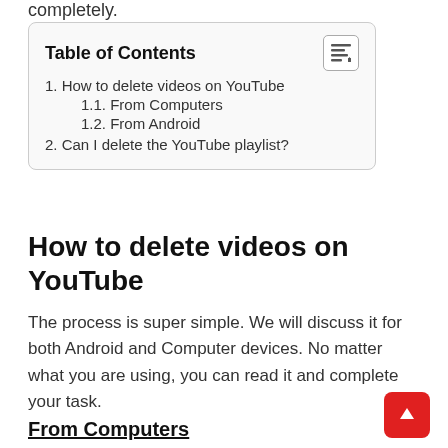completely.
| Table of Contents |
| 1. How to delete videos on YouTube |
| 1.1. From Computers |
| 1.2. From Android |
| 2. Can I delete the YouTube playlist? |
How to delete videos on YouTube
The process is super simple. We will discuss it for both Android and Computer devices. No matter what you are using, you can read it and complete your task.
From Computers